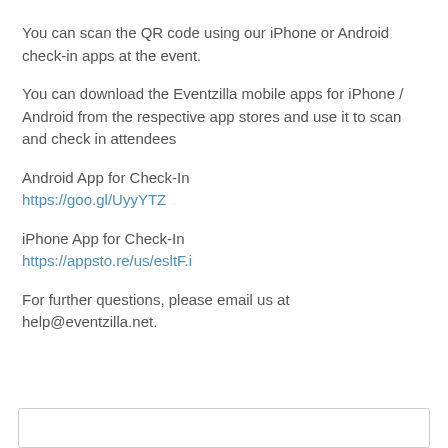You can scan the QR code using our iPhone or Android check-in apps at the event.
You can download the Eventzilla mobile apps for iPhone / Android from the respective app stores and use it to scan and check in attendees
Android App for Check-In
https://goo.gl/UyyYTZ
iPhone App for Check-In
https://appsto.re/us/esltF.i
For further questions, please email us at help@eventzilla.net.